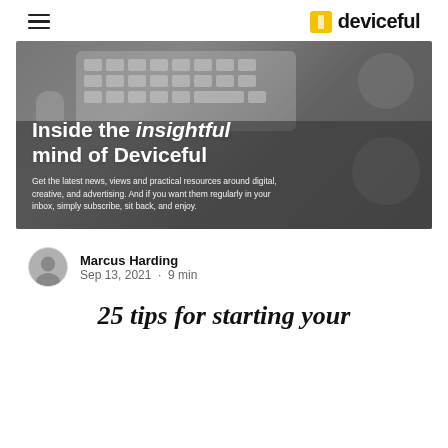deviceful
[Figure (photo): Hero banner image showing a desk with keyboard, mouse, cactus plant, and coffee cup in grayscale, with overlaid text: 'Inside the insightful mind of Deviceful' and subtitle 'Get the latest news, views and practical resources around digital, creative, and advertising. And if you want them regularly in your inbox, simply subscribe, sit back, and enjoy.']
Marcus Harding
Sep 13, 2021 · 9 min
25 tips for starting your